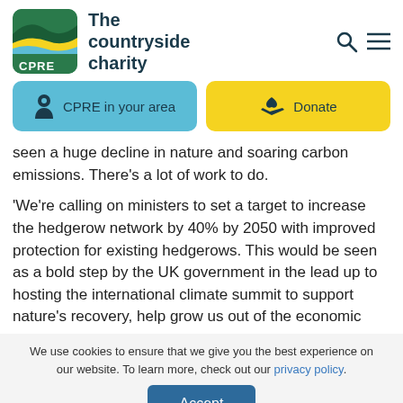[Figure (logo): CPRE - The countryside charity logo with green and yellow landscape illustration and CPRE text on green background]
The countryside charity
CPRE in your area
Donate
seen a huge decline in nature and soaring carbon emissions. There's a lot of work to do.
'We're calling on ministers to set a target to increase the hedgerow network by 40% by 2050 with improved protection for existing hedgerows. This would be seen as a bold step by the UK government in the lead up to hosting the international climate summit to support nature's recovery, help grow us out of the economic
We use cookies to ensure that we give you the best experience on our website. To learn more, check out our privacy policy.
Accept